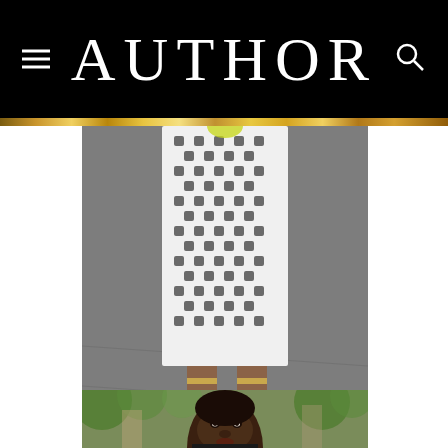AUTHOR
[Figure (photo): Fashion runway photo showing a model wearing a white geometric crochet/eyelet midi skirt or dress, with gold sandals, on a grey runway surface. Only the lower body is visible.]
[Figure (photo): Fashion show photo showing a Black female model in the foreground with short hair, wearing dark clothing, with green foliage and other audience members blurred in the background.]